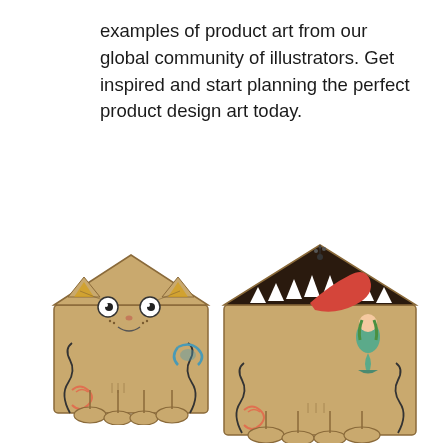examples of product art from our global community of illustrators. Get inspired and start planning the perfect product design art today.
[Figure (illustration): Two illustrated envelopes designed as whimsical characters. Left: a kraft paper envelope shaped like a cat face with cartoon eyes, ears formed by the envelope flap, whiskers, and a striped tail with blue fish decoration. Right: a kraft paper envelope opened to reveal a dark shark mouth interior with white teeth and a red tongue, with a mermaid figure visible inside, and the same cat body design on the envelope body.]